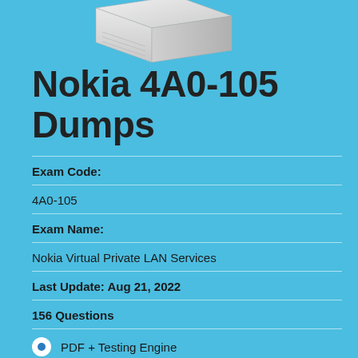[Figure (illustration): 3D book or document graphic, white/silver colored, partially visible at top of page]
Nokia 4A0-105 Dumps
Exam Code:
4A0-105
Exam Name:
Nokia Virtual Private LAN Services
Last Update: Aug 21, 2022
156 Questions
PDF + Testing Engine